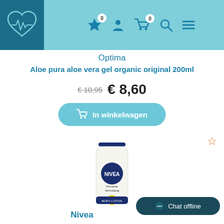Navigation header with logo and icons (star 0, user, cart 0, search, menu)
Optima
Aloe pura aloe vera gel organic original 200ml
€ 10,95  € 8,60
In winkelwagen
[Figure (photo): NIVEA Firming Body Lotion bottle product image]
Nivea
Chat offline